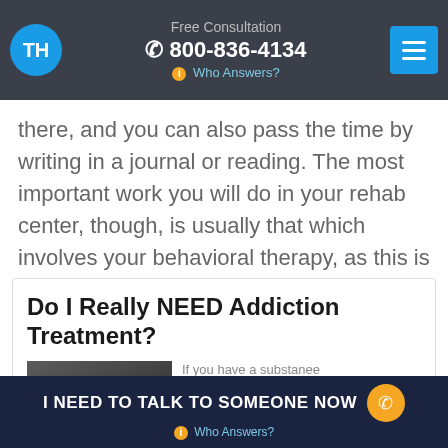TH | Free Consultation | 800-836-4134 | Who Answers?
there, and you can also pass the time by writing in a journal or reading. The most important work you will do in your rehab center, though, is usually that which involves your behavioral therapy, as this is the most commonly used and most widely effective form of drug addiction treatment (NIDA).
Do I Really NEED Addiction Treatment?
If you have a substance
I NEED TO TALK TO SOMEONE NOW | Who Answers?